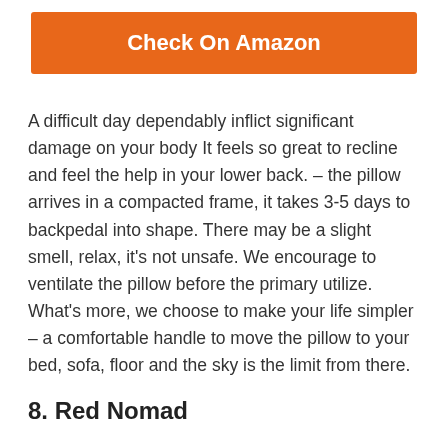[Figure (illustration): Orange 'Check On Amazon' button]
A difficult day dependably inflict significant damage on your body It feels so great to recline and feel the help in your lower back. – the pillow arrives in a compacted frame, it takes 3-5 days to backpedal into shape. There may be a slight smell, relax, it's not unsafe. We encourage to ventilate the pillow before the primary utilize. What's more, we choose to make your life simpler – a comfortable handle to move the pillow to your bed, sofa, floor and the sky is the limit from there.
8. Red Nomad
[Figure (photo): Partial product photo of a gray bag/pillow at bottom of page]